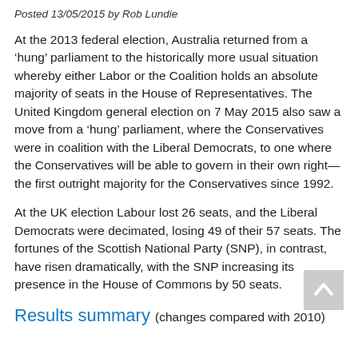Posted 13/05/2015 by Rob Lundie
At the 2013 federal election, Australia returned from a ‘hung’ parliament to the historically more usual situation whereby either Labor or the Coalition holds an absolute majority of seats in the House of Representatives. The United Kingdom general election on 7 May 2015 also saw a move from a ‘hung’ parliament, where the Conservatives were in coalition with the Liberal Democrats, to one where the Conservatives will be able to govern in their own right—the first outright majority for the Conservatives since 1992.
At the UK election Labour lost 26 seats, and the Liberal Democrats were decimated, losing 49 of their 57 seats. The fortunes of the Scottish National Party (SNP), in contrast, have risen dramatically, with the SNP increasing its presence in the House of Commons by 50 seats.
Results summary (changes compared with 2010)